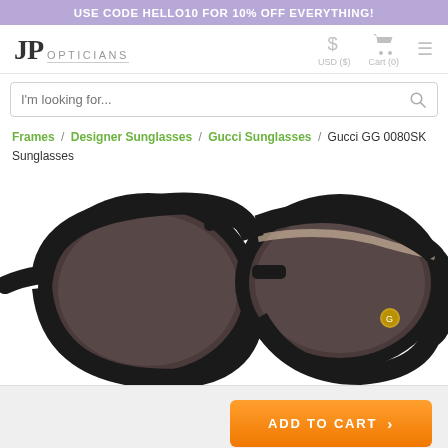USE CODE HELLO10 FOR 10% OFF EVERYTHING!
[Figure (logo): JP Opticians logo with currency selector USD ($), Cart (0), and hamburger menu]
I'm looking for...
Frames / Designer Sunglasses / Gucci Sunglasses / Gucci GG 0080SK Sunglasses
[Figure (photo): Gucci GG 0080SK sunglasses - large round black frames with grey lenses and gold Gucci logo on temple]
ADD TO CART >